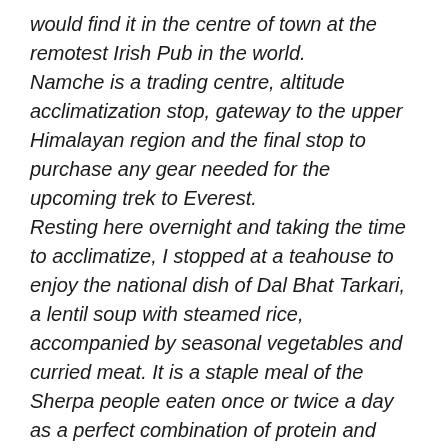would find it in the centre of town at the remotest Irish Pub in the world.
Namche is a trading centre, altitude acclimatization stop, gateway to the upper Himalayan region and the final stop to purchase any gear needed for the upcoming trek to Everest.
Resting here overnight and taking the time to acclimatize, I stopped at a teahouse to enjoy the national dish of Dal Bhat Tarkari, a lentil soup with steamed rice, accompanied by seasonal vegetables and curried meat. It is a staple meal of the Sherpa people eaten once or twice a day as a perfect combination of protein and carbs for their physical workouts at high altitude.
Just slightly out of town up a hill is the Sagarmatha